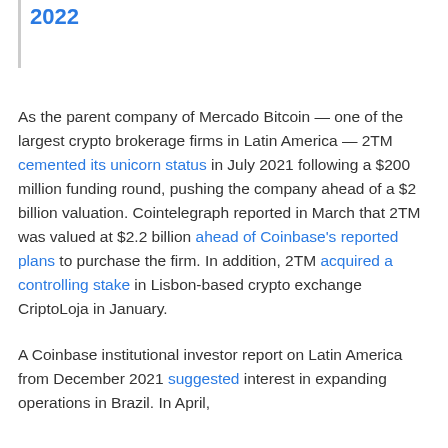2022
As the parent company of Mercado Bitcoin — one of the largest crypto brokerage firms in Latin America — 2TM cemented its unicorn status in July 2021 following a $200 million funding round, pushing the company ahead of a $2 billion valuation. Cointelegraph reported in March that 2TM was valued at $2.2 billion ahead of Coinbase's reported plans to purchase the firm. In addition, 2TM acquired a controlling stake in Lisbon-based crypto exchange CriptoLoja in January.
A Coinbase institutional investor report on Latin America from December 2021 suggested interest in expanding operations in Brazil. In April,